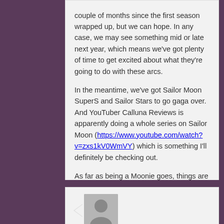couple of months since the first season wrapped up, but we can hope. In any case, we may see something mid or late next year, which means we've got plenty of time to get excited about what they're going to do with these arcs.
In the meantime, we've got Sailor Moon SuperS and Sailor Stars to go gaga over. And YouTuber Calluna Reviews is apparently doing a whole series on Sailor Moon (https://www.youtube.com/watch?v=zxs1kV0WmVY) which is something I'll definitely be checking out.
As far as being a Moonie goes, things are looking up.
Reply ↓
[Figure (illustration): User avatar placeholder: gray square with silhouette of a person]